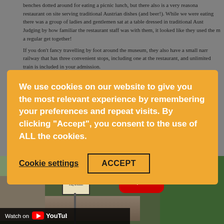benches dotted around for eating a picnic lunch, but there also is a very reasonable restaurant on site serving traditional Austrian dishes (and beer!). While we were eating there was a group of ladies and gentlemen sat at a table dressed in traditional Austrian. Judging by how familiar the restaurant staff was with them, it looked like they used the r a regular get together!
If you don't fancy travelling by foot around the museum, they also have a small narrow railway that has three convenient stops, including one at the restaurant, and unlimited train is included in your admission.
We use cookies on our website to give you the most relevant experience by remembering your preferences and repeat visits. By clicking "Accept", you consent to the use of ALL the cookies.
Cookie settings   ACCEPT
[Figure (screenshot): YouTube video thumbnail showing a narrow-gauge railway track with a 'Halt' sign, surrounded by green trees and rocky landscape. A YouTube play button is visible. At the bottom: 'Watch on YouTube' bar.]